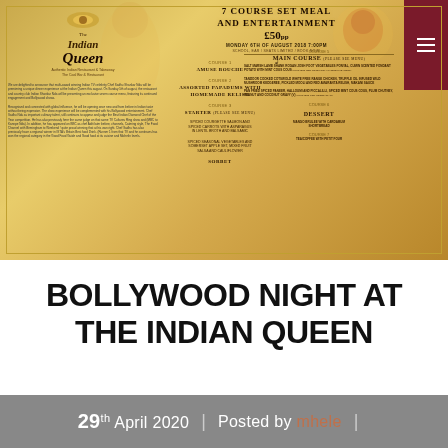[Figure (infographic): Restaurant event flyer for 'The Indian Queen' showing a 7 Course Set Meal and Entertainment for £50 on Monday 6th of August 2018 at 7:00pm. Lists courses: Amuse Bouche, Assorted Papadums with Homemade Relish, Starter (Spiced dishes), Spiced Seasonal Vegetables, Sorbet, Main Course (Salt Marsh Lamb Shank, Tandoor Cooked Cotswold White Free Range Chicken, Pan Fried Spiced Paneer), Dessert (Mango Brulee with Cardamum Shortbread), Tea/Coffee with Petit Four. Gold/amber background with decorative Indian figures.]
BOLLYWOOD NIGHT AT THE INDIAN QUEEN
29th April 2020  |  Posted by mhele  |